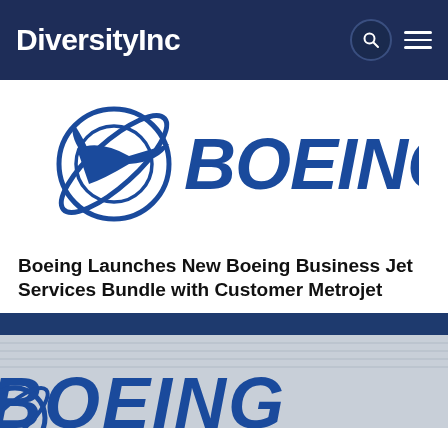DiversityInc
[Figure (logo): Boeing corporate logo — blue circular icon with stylized aircraft silhouette and orbit ring, followed by BOEING in bold blue italic letters]
Boeing Launches New Boeing Business Jet Services Bundle with Customer Metrojet
[Figure (photo): Partial photo of a Boeing building exterior showing the blue BOEING sign on a white corrugated metal wall, with dark blue stripe at the top]